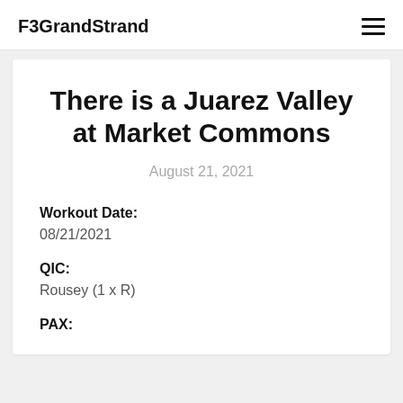F3GrandStrand
There is a Juarez Valley at Market Commons
August 21, 2021
Workout Date:
08/21/2021
QIC:
Rousey (1 x R)
PAX: